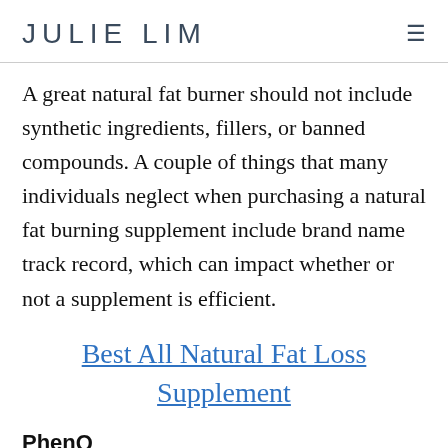JULIE LIM
A great natural fat burner should not include synthetic ingredients, fillers, or banned compounds. A couple of things that many individuals neglect when purchasing a natural fat burning supplement include brand name track record, which can impact whether or not a supplement is efficient.
Best All Natural Fat Loss Supplement
PhenQ